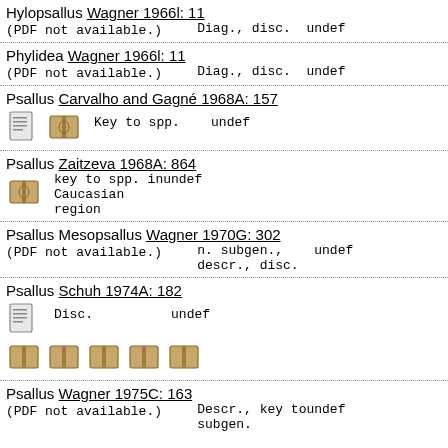Hylopsallus Wagner 1966l: 11
(PDF not available.)  Diag., disc.  undef
Phylidea Wagner 1966l: 11
(PDF not available.)  Diag., disc.  undef
Psallus Carvalho and Gagné 1968A: 157
[icons]  Key to spp.  undef
Psallus Zaitzeva 1968A: 864
[icon]  key to spp. in Caucasian region  undef
Psallus Mesopsallus Wagner 1970G: 302
(PDF not available.)  n. subgen., descr., disc.  undef
Psallus Schuh 1974A: 182
[icons]  Disc.  undef
Psallus Wagner 1975C: 163
(PDF not available.)  Descr., key to subgen.  undef